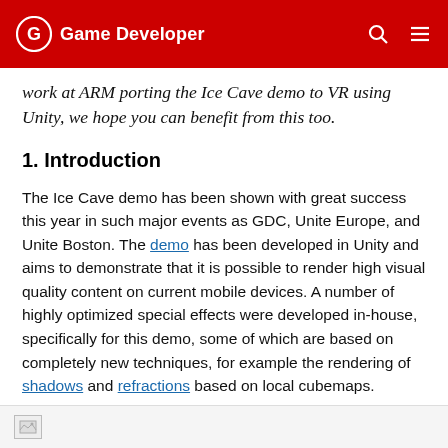Game Developer
work at ARM porting the Ice Cave demo to VR using Unity, we hope you can benefit from this too.
1. Introduction
The Ice Cave demo has been shown with great success this year in such major events as GDC, Unite Europe, and Unite Boston. The demo has been developed in Unity and aims to demonstrate that it is possible to render high visual quality content on current mobile devices. A number of highly optimized special effects were developed in-house, specifically for this demo, some of which are based on completely new techniques, for example the rendering of shadows and refractions based on local cubemaps.
[Figure (photo): Image placeholder at bottom of page]